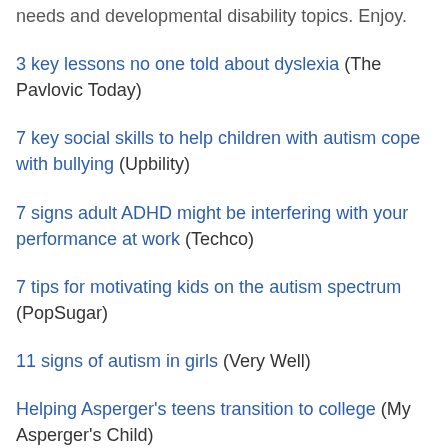needs and developmental disability topics. Enjoy.
3 key lessons no one told about dyslexia (The Pavlovic Today)
7 key social skills to help children with autism cope with bullying (Upbility)
7 signs adult ADHD might be interfering with your performance at work (Techco)
7 tips for motivating kids on the autism spectrum (PopSugar)
11 signs of autism in girls (Very Well)
Helping Asperger's teens transition to college (My Asperger's Child)